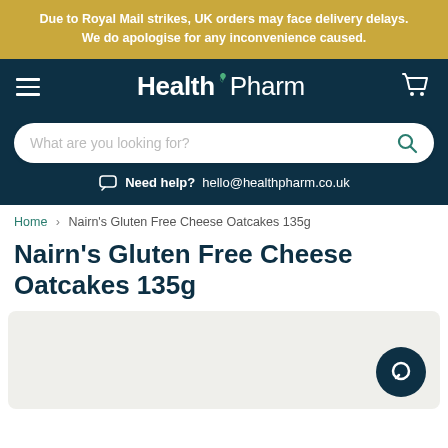Due to Royal Mail strikes, UK orders may face delivery delays. We do apologise for any inconvenience caused.
[Figure (logo): HealthPharm logo with hamburger menu and cart icon on dark teal navbar background]
What are you looking for?
Need help? hello@healthpharm.co.uk
Home › Nairn's Gluten Free Cheese Oatcakes 135g
Nairn's Gluten Free Cheese Oatcakes 135g
[Figure (other): Light grey product image area with a dark teal circular chat/support button in the bottom right corner]